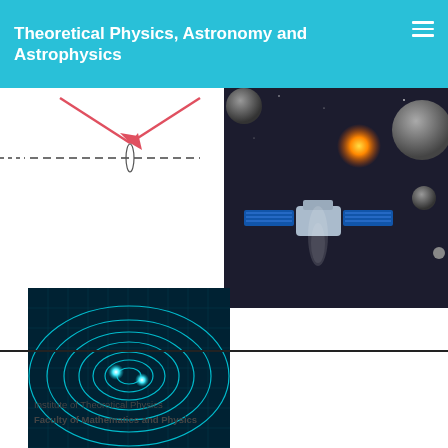Theoretical Physics, Astronomy and Astrophysics
[Figure (illustration): Partial physics/optics diagram showing arrows and dashed lines on white background, partially visible (cropped at top).]
[Figure (photo): Space telescope / satellite illustration in dark space with a glowing orange star, several grey planets/moons in background.]
[Figure (illustration): Gravitational waves illustration: two bright cyan glowing objects spiral together emitting concentric wave ripples on a dark teal grid background.]
Institute of Theoretical Physics
Faculty of Mathematics and Physics